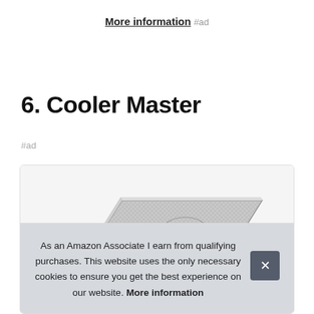More information #ad
6. Cooler Master
#ad
[Figure (photo): Product photo of a Cooler Master laptop cooling pad, shown at an angle with mesh surface and LED fan.]
As an Amazon Associate I earn from qualifying purchases. This website uses the only necessary cookies to ensure you get the best experience on our website. More information